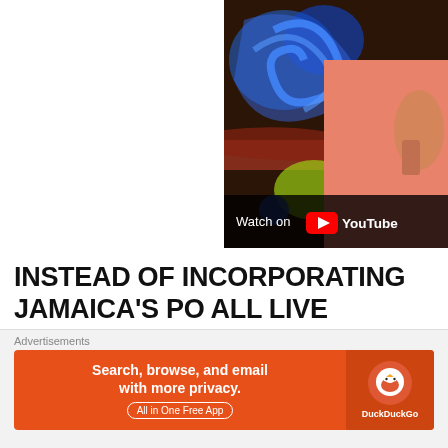[Figure (screenshot): YouTube video thumbnail showing a person in a pink/salmon top with colorful artistic background. Overlay reads 'Watch on YouTube' with YouTube logo.]
INSTEAD OF INCORPORATING JAMAICA'S PO ALL LIVE INSTRUMENTATION. THE ALBUM'S JUKE BOXX PRODUCTIONS, AND STANLEY "B
Advertisements
[Figure (infographic): DuckDuckGo advertisement banner. Orange background. Left side: 'Search, browse, and email with more privacy. All in One Free App'. Right side: DuckDuckGo logo (orange circle with duck icon) and 'DuckDuckGo' text in white.]